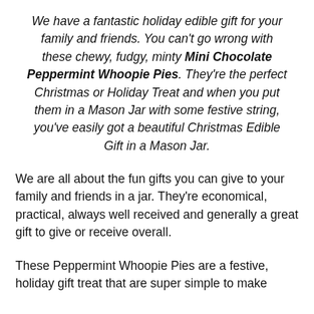We have a fantastic holiday edible gift for your family and friends. You can't go wrong with these chewy, fudgy, minty Mini Chocolate Peppermint Whoopie Pies. They're the perfect Christmas or Holiday Treat and when you put them in a Mason Jar with some festive string, you've easily got a beautiful Christmas Edible Gift in a Mason Jar.
We are all about the fun gifts you can give to your family and friends in a jar. They're economical, practical, always well received and generally a great gift to give or receive overall.
These Peppermint Whoopie Pies are a festive, holiday gift treat that are super simple to make